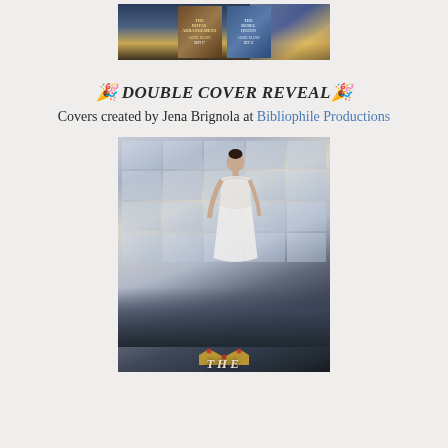[Figure (photo): Two book covers for The Royal Arrangement and The Rebel Queen by Janel Mann, with a bridge and city twilight background. Dates: Sept 17 and Oct 15.]
🎉 DOUBLE COVER REVEAL🎉
Covers created by Jena Brignola at Bibliophile Productions
[Figure (photo): Book cover image showing a woman in a white lace dress standing before large windows with a city skyline and bridge visible below, with a crown and the word THE at the bottom.]